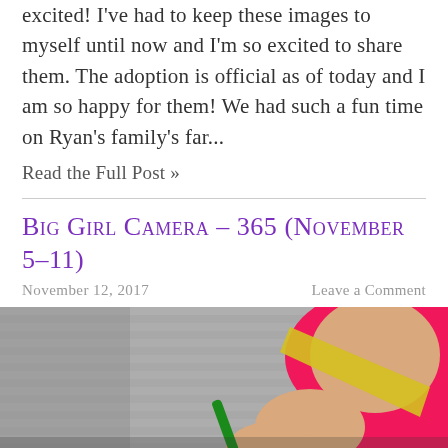excited! I've had to keep these images to myself until now and I'm so excited to share them. The adoption is official as of today and I am so happy for them! We had such a fun time on Ryan's family's far...
Read the Full Post »
Big Girl Camera – 365 (November 5–11)
November 12, 2017
Leave a Comment
[Figure (photo): A child wearing a bright pink hoodie and a yellow sash, holding a green marker pen and writing or drawing on something. The photo is in partial focus with a blurred grey background.]